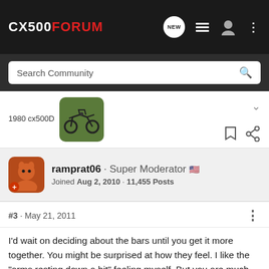CX500FORUM
Search Community
1980 cx500D
ramprat06 · Super Moderator
Joined Aug 2, 2010 · 11,455 Posts
#3 · May 21, 2011
I'd wait on deciding about the bars until you get it more together. You might be surprised at how they feel. I like the "arms resting down a bit" feeling myself. But you are much taller, so I expect your arms are longer too. There are decent alternatives that still have the draw back, rather than the clubmans or daytonas.